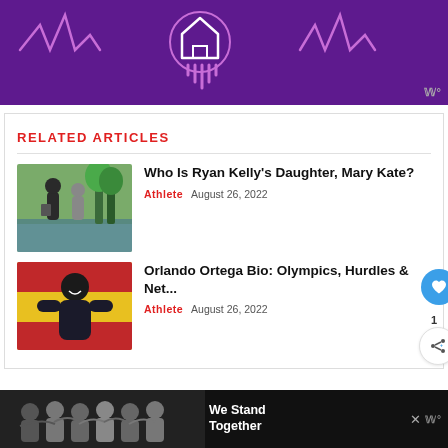[Figure (illustration): Purple advertisement banner with house icon and soundwave/heartbeat graphic lines in pink/light purple on dark purple background]
RELATED ARTICLES
[Figure (photo): Two people standing near a lake, one holding an award plaque, outdoor setting with trees]
Who Is Ryan Kelly's Daughter, Mary Kate?
Athlete  August 26, 2022
[Figure (photo): Male athlete wrapped in a colorful flag (Spanish colors - red, yellow), smiling, wearing athletic gear]
Orlando Ortega Bio: Olympics, Hurdles & Net...
Athlete  August 26, 2022
[Figure (illustration): Bottom advertisement banner: group of people with arms around each other, 'We Stand Together' text on dark background]